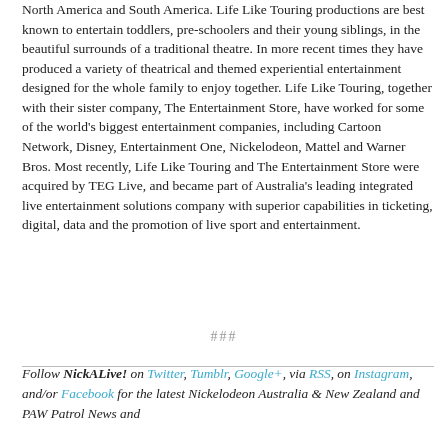North America and South America. Life Like Touring productions are best known to entertain toddlers, pre-schoolers and their young siblings, in the beautiful surrounds of a traditional theatre. In more recent times they have produced a variety of theatrical and themed experiential entertainment designed for the whole family to enjoy together. Life Like Touring, together with their sister company, The Entertainment Store, have worked for some of the world's biggest entertainment companies, including Cartoon Network, Disney, Entertainment One, Nickelodeon, Mattel and Warner Bros. Most recently, Life Like Touring and The Entertainment Store were acquired by TEG Live, and became part of Australia's leading integrated live entertainment solutions company with superior capabilities in ticketing, digital, data and the promotion of live sport and entertainment.
###
Follow NickALive! on Twitter, Tumblr, Google+, via RSS, on Instagram, and/or Facebook for the latest Nickelodeon Australia & New Zealand and PAW Patrol News and